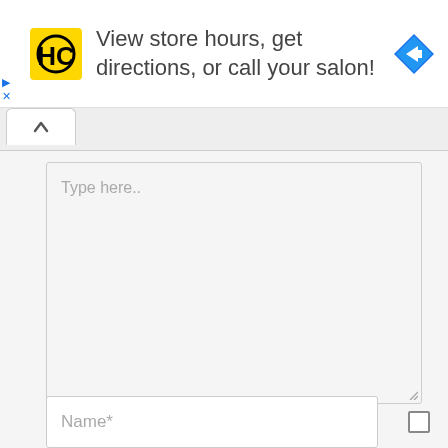[Figure (screenshot): Advertisement banner with HC (Haircuttery) yellow logo, text 'View store hours, get directions, or call your salon!', and a blue navigation diamond icon on the right. Small play and X buttons on the far left.]
[Figure (screenshot): Web form UI showing a tab bar with an up-arrow active tab, a large textarea with placeholder text 'Type here..', and a Name* input field at the bottom with a checkbox to the right.]
Type here..
Name*